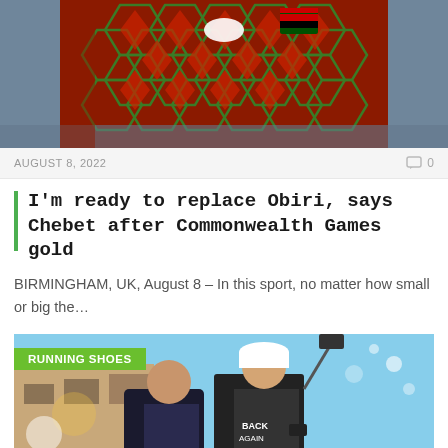[Figure (photo): Athlete wearing red and green honeycomb-patterned Nike Kenya tracksuit, waving, with crowd in background]
AUGUST 8, 2022
0
I'm ready to replace Obiri, says Chebet after Commonwealth Games gold
BIRMINGHAM, UK, August 8 – In this sport, no matter how small or big the…
[Figure (photo): Two people at an outdoor event, man in dark Back Again shirt holding selfie pole, woman beside him smiling]
RUNNING SHOES